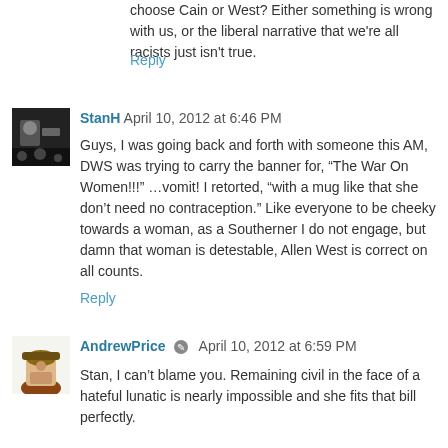choose Cain or West? Either something is wrong with us, or the liberal narrative that we're all racists just isn't true.
Reply
[Figure (photo): Small avatar photo of StanH, dark concert-style photo]
StanH April 10, 2012 at 6:46 PM
Guys, I was going back and forth with someone this AM, DWS was trying to carry the banner for, “The War On Women!!!” …vomit! I retorted, “with a mug like that she don’t need no contraception.” Like everyone to be cheeky towards a woman, as a Southerner I do not engage, but damn that woman is detestable, Allen West is correct on all counts.
Reply
[Figure (photo): Small avatar photo of AndrewPrice, cartoon-style figure with hat]
AndrewPrice  April 10, 2012 at 6:59 PM
Stan, I can’t blame you. Remaining civil in the face of a hateful lunatic is nearly impossible and she fits that bill perfectly.